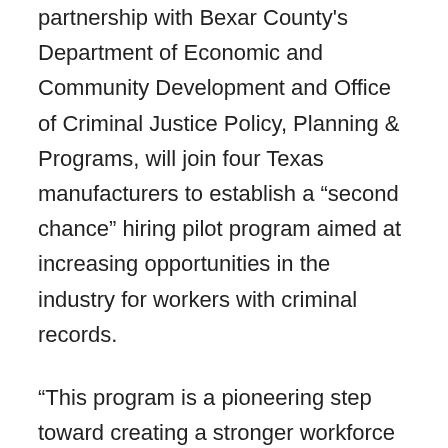partnership with Bexar County's Department of Economic and Community Development and Office of Criminal Justice Policy, Planning & Programs, will join four Texas manufacturers to establish a “second chance” hiring pilot program aimed at increasing opportunities in the industry for workers with criminal records.
“This program is a pioneering step toward creating a stronger workforce and doing the right thing for the people of San Antonio and the surrounding area,” said MI Executive Director Carolyn Lee. “Second chance hiring gives businesses access to a talent pool in an